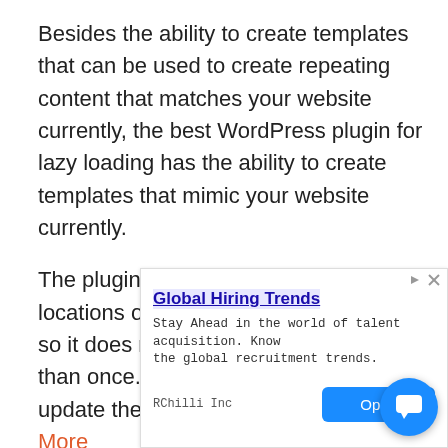Besides the ability to create templates that can be used to create repeating content that matches your website currently, the best WordPress plugin for lazy loading has the ability to create templates that mimic your website currently.
The plugin can be used in multiple locations on a post, page, or template, so it does not need to be installed more than once. It is possible to filter and update the queries sent to Ajax Load More
[Figure (other): Advertisement overlay: 'Global Hiring Trends' ad from RChilli Inc with an Open button, and a blue chat/support button in the bottom-right corner.]